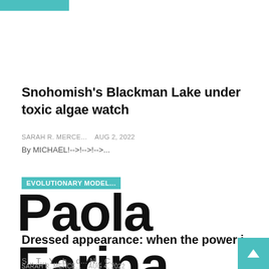[Figure (other): Teal/turquoise horizontal bar at top left of page]
Snohomish's Blackman Lake under toxic algae watch
SARAH R. MERCE...   Aug 2, 2022
By MICHAEL!-->!-->!-->...
EVOLUTIONARY MODEL...
Paola Farina
Dressed appearance: when the power is in the d
SARAH R. MERCE...   Aug 4, 2022